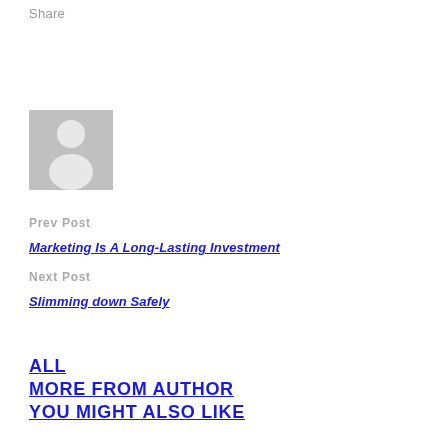Share
[Figure (illustration): Generic user avatar placeholder — grey square with white silhouette of a person]
Prev Post
Marketing Is A Long-Lasting Investment
Next Post
Slimming down Safely
ALL
MORE FROM AUTHOR
YOU MIGHT ALSO LIKE